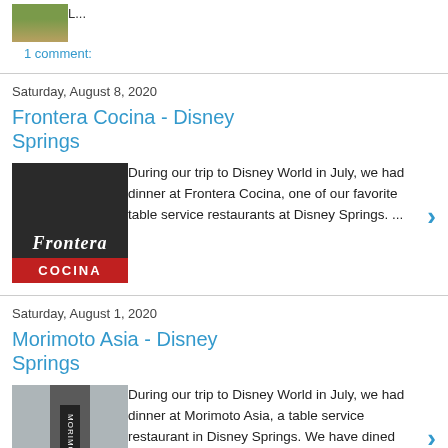[Figure (photo): Small thumbnail image of outdoor scene with greenery]
L...
1 comment:
Saturday, August 8, 2020
Frontera Cocina - Disney Springs
[Figure (photo): Frontera Cocina restaurant sign - dark background with stylized script text and red COCINA banner]
During our trip to Disney World in July, we had dinner at Frontera Cocina, one of our favorite table service restaurants at Disney Springs. ...
Saturday, August 1, 2020
Morimoto Asia - Disney Springs
[Figure (photo): Morimoto Asia restaurant exterior building photo]
During our trip to Disney World in July, we had dinner at Morimoto Asia, a table service restaurant in Disney Springs. We have dined at...